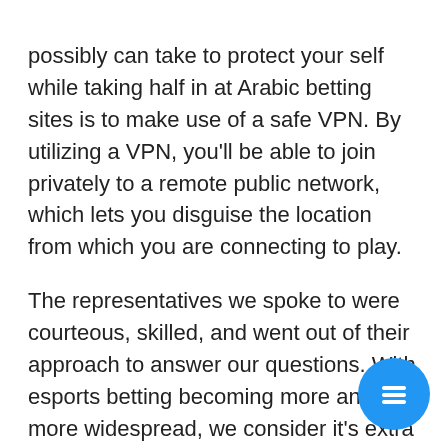possibly can take to protect your self while taking half in at Arabic betting sites is to make use of a safe VPN. By utilizing a VPN, you'll be able to join privately to a remote public network, which lets you disguise the location from which you are connecting to play.
The representatives we spoke to were courteous, skilled, and went out of their approach to answer our questions. With esports betting becoming more and more widespread, we consider it's extra essential than ever to attract attention to licensed operators that make use of protected and clear gambling practices. At this level, we're unaware of any jurisdiction that has taken a special regulatory method to esports betting than the strategy taken to conventional